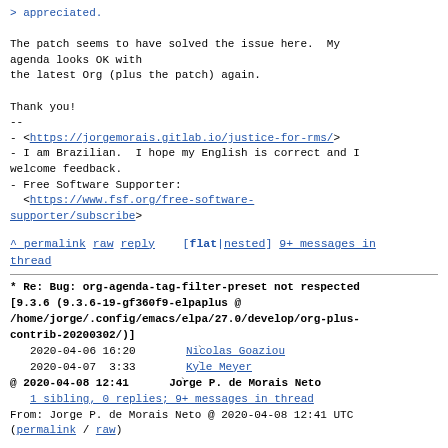> appreciated.

The patch seems to have solved the issue here.  My agenda looks OK with
the latest Org (plus the patch) again.

Thank you!
--
- <https://jorgemorais.gitlab.io/justice-for-rms/>
- I am Brazilian.  I hope my English is correct and I welcome feedback.
- Free Software Supporter:
  <https://www.fsf.org/free-software-supporter/subscribe>
^ permalink raw reply  [flat|nested] 9+ messages in thread
* Re: Bug: org-agenda-tag-filter-preset not respected [9.3.6 (9.3.6-19-gf360f9-elpaplus @ /home/jorge/.config/emacs/elpa/27.0/develop/org-plus-contrib-20200302/)]
  2020-04-06 16:20      ` Nicolas Goaziou
  2020-04-07  3:33      ` Kyle Meyer
@ 2020-04-08 12:41      ` Jorge P. de Morais Neto
  1 sibling, 0 replies; 9+ messages in thread
From: Jorge P. de Morais Neto @ 2020-04-08 12:41 UTC
(permalink / raw)